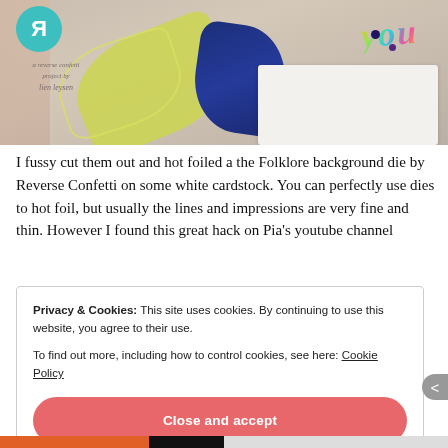[Figure (photo): Craft card photo showing yellow leaf die cuts and blue botanical elements with holographic foil text on white cardstock, with a teal Reverse Confetti logo and handwritten credit 'a reverse confetti project by lien leysen' in upper left]
I fussy cut them out and hot foiled a the Folklore background die by Reverse Confetti on some white cardstock. You can perfectly use dies to hot foil, but usually the lines and impressions are very fine and thin. However I found this great hack on Pia's youtube channel
Privacy & Cookies: This site uses cookies. By continuing to use this website, you agree to their use.
To find out more, including how to control cookies, see here: Cookie Policy
Close and accept